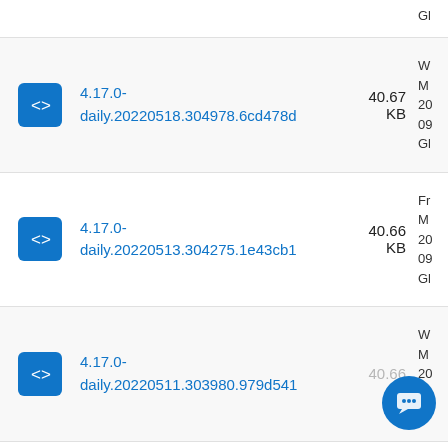Gl
4.17.0-daily.20220518.304978.6cd478d  40.67 KB  W M 20 09 Gl
4.17.0-daily.20220513.304275.1e43cb1  40.66 KB  Fr M 20 09 Gl
4.17.0-daily.20220511.303980.979d541  40.66 KB  W M 20 09 Gl